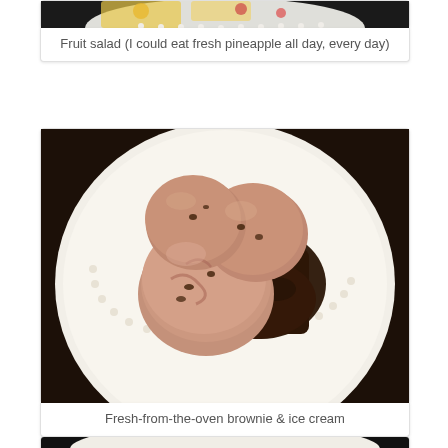[Figure (photo): Partial view of a fruit salad on a white plate with pearl-edged rim, cropped at top]
Fruit salad (I could eat fresh pineapple all day, every day)
[Figure (photo): Three scoops of chocolate chip ice cream served on top of a fresh-from-the-oven brownie on a white decorative plate]
Fresh-from-the-oven brownie & ice cream
[Figure (photo): Partial view of a slice of cake or bread on a white plate, cropped at bottom of page]